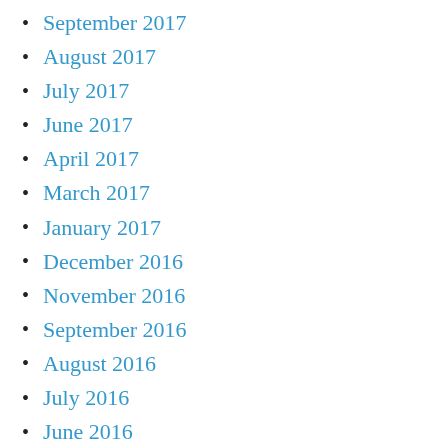September 2017
August 2017
July 2017
June 2017
April 2017
March 2017
January 2017
December 2016
November 2016
September 2016
August 2016
July 2016
June 2016
April 2016
March 2016
February 2016